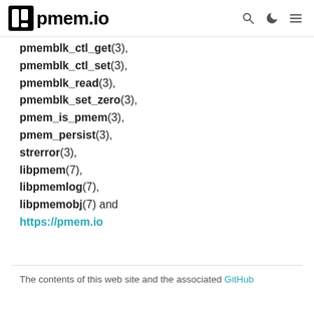pmem.io
pmemblk_ctl_get(3),
pmemblk_ctl_set(3),
pmemblk_read(3),
pmemblk_set_zero(3),
pmem_is_pmem(3),
pmem_persist(3),
strerror(3),
libpmem(7),
libpmemlog(7),
libpmemobj(7) and
https://pmem.io
The contents of this web site and the associated GitHub